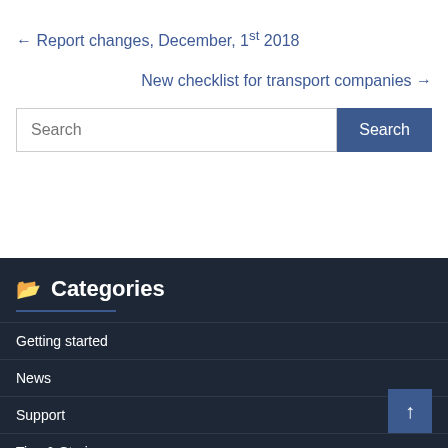← Report changes, December, 1st 2018
New checklist for transport companies →
Search
Categories
Getting started
News
Support
Tips & Stories